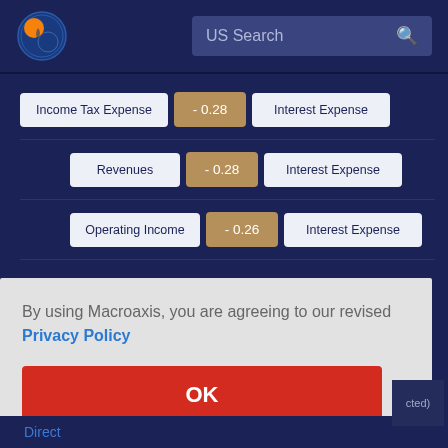[Figure (screenshot): Macroaxis website header with logo and US Search bar]
| Item | Value | Related |
| --- | --- | --- |
| Income Tax Expense | - 0.28 | Interest Expense |
| Revenues | - 0.28 | Interest Expense |
| Operating Income | - 0.26 | Interest Expense |
By using Macroaxis, you are agreeing to our revised Privacy Policy
OK
Direct